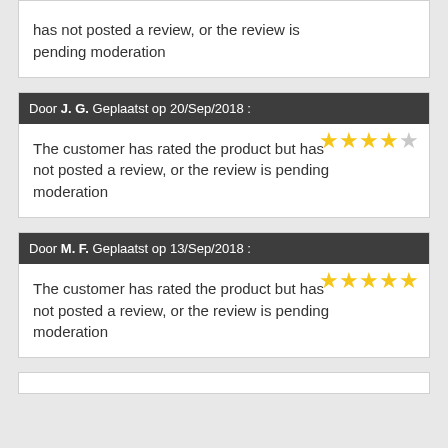has not posted a review, or the review is pending moderation
Door J. G. Geplaatst op 20/Sep/2018 :
The customer has rated the product but has not posted a review, or the review is pending moderation
Door M. F. Geplaatst op 13/Sep/2018 :
The customer has rated the product but has not posted a review, or the review is pending moderation